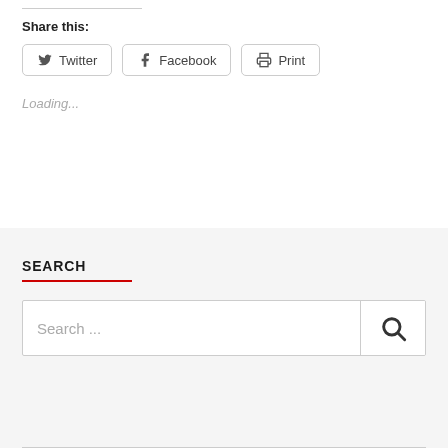Share this:
[Figure (screenshot): Social sharing buttons: Twitter, Facebook, Print]
Loading...
SEARCH
[Figure (screenshot): Search input box with search icon button]